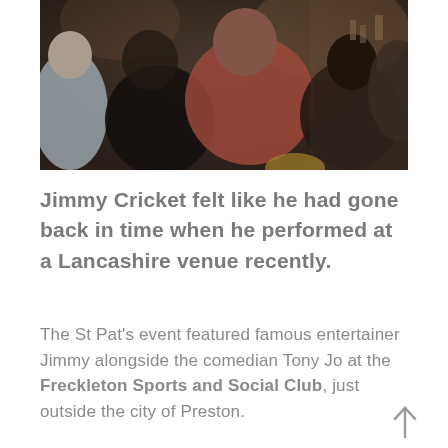[Figure (photo): Crowd scene at an indoor venue, showing people from behind, including someone in a red/pink sweater and others in dark clothing, in a pub or social club setting.]
Jimmy Cricket felt like he had gone back in time when he performed at a Lancashire venue recently.
The St Pat's event featured famous entertainer Jimmy alongside the comedian Tony Jo at the Freckleton Sports and Social Club, just outside the city of Preston.